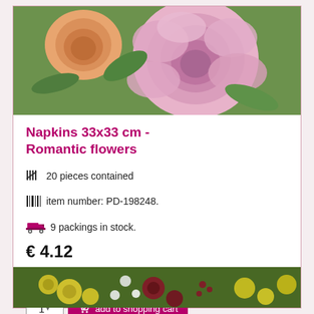[Figure (photo): Close-up photo of pink roses and orange flowers with green leaves]
Napkins 33x33 cm - Romantic flowers
20 pieces contained
item number: PD-198248.
9 packings in stock.
€ 4.12
€ 0.21 /item
incl. taxes plus shipping costs
[Figure (screenshot): Add to shopping cart button with quantity selector showing 1]
[Figure (photo): Photo of colorful autumn flowers including yellow, red and white blooms]